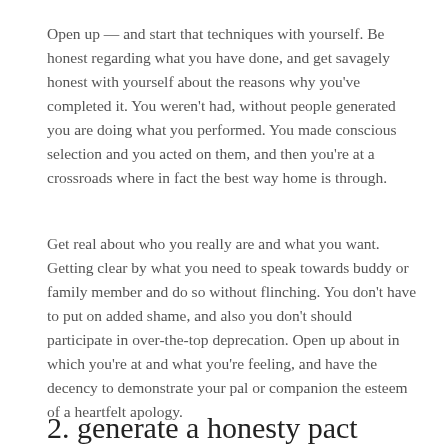Open up — and start that techniques with yourself. Be honest regarding what you have done, and get savagely honest with yourself about the reasons why you've completed it. You weren't had, without people generated you are doing what you performed. You made conscious selection and you acted on them, and then you're at a crossroads where in fact the best way home is through.
Get real about who you really are and what you want. Getting clear by what you need to speak towards buddy or family member and do so without flinching. You don't have to put on added shame, and also you don't should participate in over-the-top deprecation. Open up about in which you're at and what you're feeling, and have the decency to demonstrate your pal or companion the esteem of a heartfelt apology.
2. generate a honesty pact